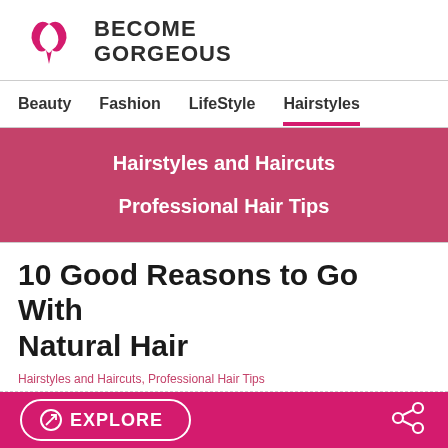[Figure (logo): Become Gorgeous logo with pink swirl/heart icon and bold text 'BECOME GORGEOUS']
Beauty   Fashion   LifeStyle   Hairstyles
Hairstyles and Haircuts
Professional Hair Tips
10 Good Reasons to Go With Natural Hair
Hairstyles and Haircuts, Professional Hair Tips
EXPLORE